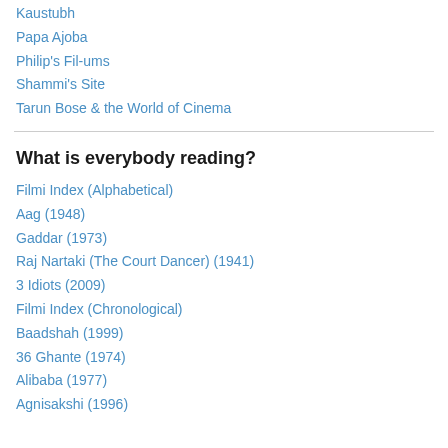Kaustubh
Papa Ajoba
Philip's Fil-ums
Shammi's Site
Tarun Bose & the World of Cinema
What is everybody reading?
Filmi Index (Alphabetical)
Aag (1948)
Gaddar (1973)
Raj Nartaki (The Court Dancer) (1941)
3 Idiots (2009)
Filmi Index (Chronological)
Baadshah (1999)
36 Ghante (1974)
Alibaba (1977)
Agnisakshi (1996)